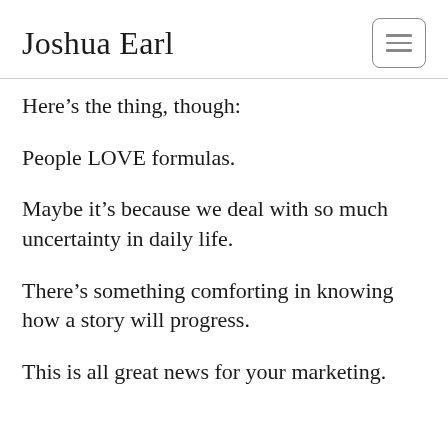Joshua Earl
Here’s the thing, though:
People LOVE formulas.
Maybe it’s because we deal with so much uncertainty in daily life.
There’s something comforting in knowing how a story will progress.
This is all great news for your marketing.